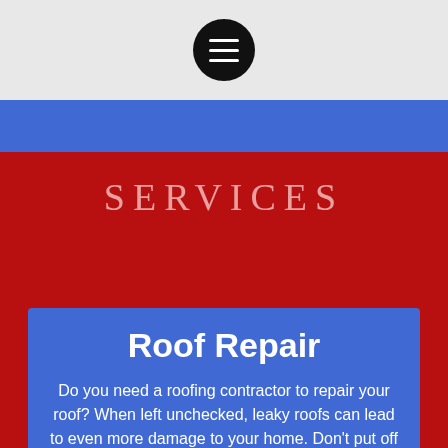Navigation menu icon (hamburger button)
SERVICES
Roof Repair
Do you need a roofing contractor to repair your roof? When left unchecked, leaky roofs can lead to even more damage to your home. Don't put off the